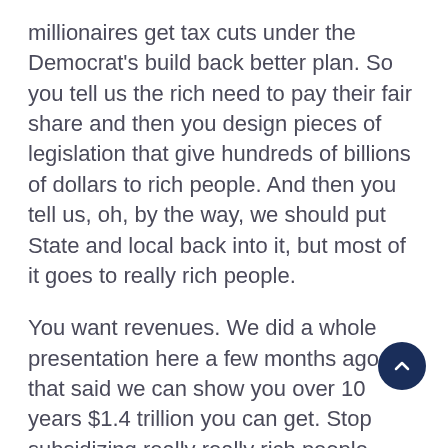millionaires get tax cuts under the Democrat's build back better plan. So you tell us the rich need to pay their fair share and then you design pieces of legislation that give hundreds of billions of dollars to rich people. And then you tell us, oh, by the way, we should put State and local back into it, but most of it goes to really rich people.
You want revenues. We did a whole presentation here a few months ago that said we can show you over 10 years $1.4 trillion you can get. Stop subsidizing really really rich people. Instead, the left does a piece of legislation to subsidize them more. I guess my intense frustration is we are heading–it may not be the bubble where the economy blows up–but we are heading to a type of rot because so much of this Nation's resources will be used to survive the amount of debt we have piled up. And then we are adopting policies that don't create any type of escape